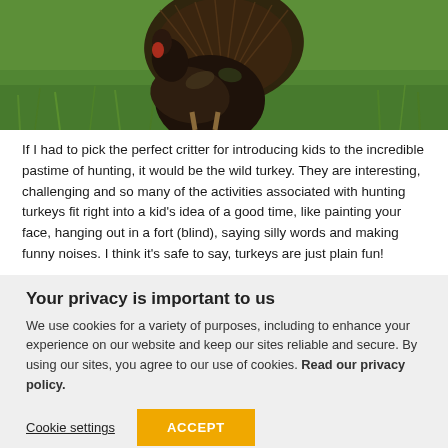[Figure (photo): A wild turkey standing in green grass, photographed from mid-body upward, with distinctive fanned feathers visible.]
If I had to pick the perfect critter for introducing kids to the incredible pastime of hunting, it would be the wild turkey. They are interesting, challenging and so many of the activities associated with hunting turkeys fit right into a kid's idea of a good time, like painting your face, hanging out in a fort (blind), saying silly words and making funny noises. I think it's safe to say, turkeys are just plain fun!
Your privacy is important to us
We use cookies for a variety of purposes, including to enhance your experience on our website and keep our sites reliable and secure. By using our sites, you agree to our use of cookies. Read our privacy policy.